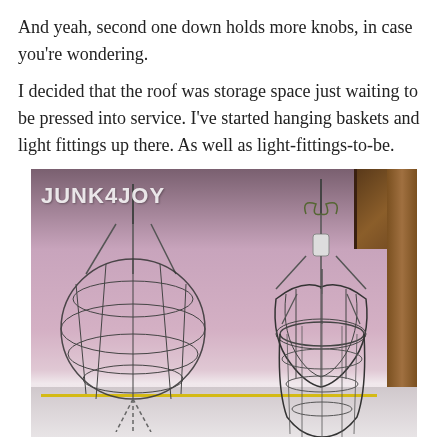And yeah, second one down holds more knobs, in case you're wondering.
I decided that the roof was storage space just waiting to be pressed into service. I've started hanging baskets and light fittings up there. As well as light-fittings-to-be.
[Figure (photo): Photo of wire hanging baskets and light fittings hanging from a pink/purple wooden ceiling in a storage area. Watermark reads JUNK4JOY. Three baskets visible: a large spherical wire basket on the left with chain, a heart/pumpkin shaped wire basket in the middle with a light fitting, and a smaller wire basket on the right. Yellow rope visible in the lower portion.]